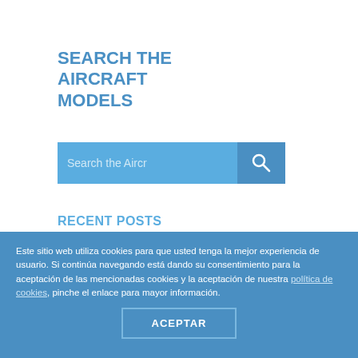SEARCH THE AIRCRAFT MODELS
[Figure (other): Search input box with placeholder text 'Search the Aircr' and a blue search button with magnifying glass icon]
RECENT POSTS
Southwest Vacation
Less Touristy Things to do in San Francisco
Australia Vacations
Caribbean Vacation
Motorcoach Traveling
Este sitio web utiliza cookies para que usted tenga la mejor experiencia de usuario. Si continúa navegando está dando su consentimiento para la aceptación de las mencionadas cookies y la aceptación de nuestra política de cookies, pinche el enlace para mayor información.